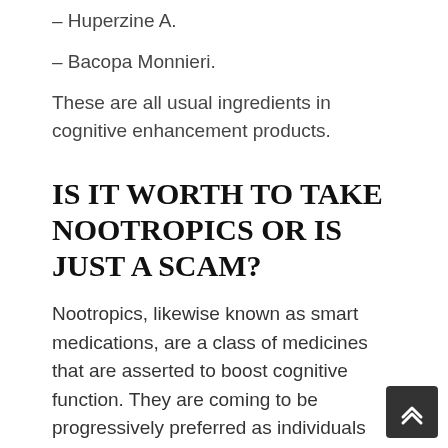– Huperzine A.
– Bacopa Monnieri.
These are all usual ingredients in cognitive enhancement products.
IS IT WORTH TO TAKE NOOTROPICS OR IS JUST A SCAM?
Nootropics, likewise known as smart medications, are a class of medicines that are asserted to boost cognitive function. They are coming to be progressively preferred as individuals look for means to enhance their cognitive efficiency and memory. However, there is much argument concerning whether or not nootropics really work, with some professionals arguing that they are